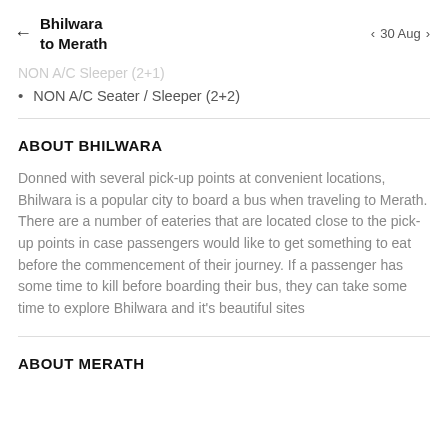Bhilwara to Merath | 30 Aug
NON A/C Sleeper (2+1)
NON A/C Seater / Sleeper (2+2)
ABOUT BHILWARA
Donned with several pick-up points at convenient locations, Bhilwara is a popular city to board a bus when traveling to Merath. There are a number of eateries that are located close to the pick-up points in case passengers would like to get something to eat before the commencement of their journey. If a passenger has some time to kill before boarding their bus, they can take some time to explore Bhilwara and it's beautiful sites
ABOUT MERATH